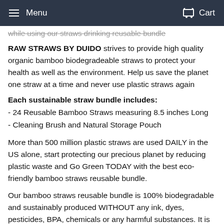Menu   Cart
while using our straws drinking reusable bundle
RAW STRAWS BY DUIDO strives to provide high quality organic bamboo biodegradeable straws to protect your health as well as the environment. Help us save the planet one straw at a time and never use plastic straws again
Each sustainable straw bundle includes:
- 24 Reusable Bamboo Straws measuring 8.5 inches Long
- Cleaning Brush and Natural Storage Pouch
More than 500 million plastic straws are used DAILY in the US alone, start protecting our precious planet by reducing plastic waste and Go Green TODAY with the best eco-friendly bamboo straws reusable bundle.
Our bamboo straws reusable bundle is 100% biodegradable and sustainably produced WITHOUT any ink, dyes, pesticides, BPA, chemicals or any harmful substances. It is the ideal alternative to plastic, paper, stainless steel or glass straws for all your cold and hot drinks. Duido's kid-friendly straws are